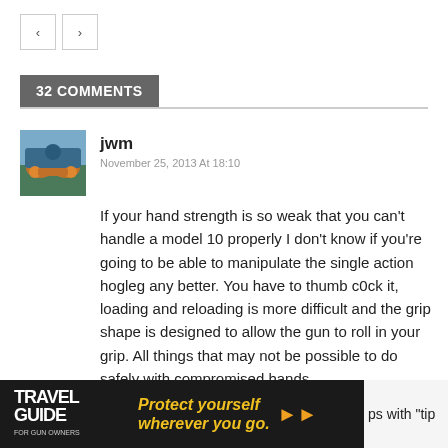[Figure (other): Navigation previous/next arrow buttons]
32 COMMENTS
jwm
November 25, 2013 At 18:10
If your hand strength is so weak that you can't handle a model 10 properly I don't know if you're going to be able to manipulate the single action hogleg any better. You have to thumb c0ck it, loading and reloading is more difficult and the grip shape is designed to allow the gun to roll in your grip. All things that may not be possible to do safely with compromised hands.
[Figure (photo): Travel Guide for Gun Owners advertisement banner with text 'Protect yourself wherever you go.' and US LawShield logo, partially visible text 'ps with "tip']